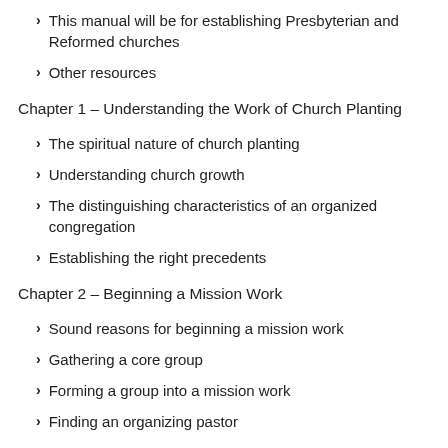This manual will be for establishing Presbyterian and Reformed churches
Other resources
Chapter 1 – Understanding the Work of Church Planting
The spiritual nature of church planting
Understanding church growth
The distinguishing characteristics of an organized congregation
Establishing the right precedents
Chapter 2 – Beginning a Mission Work
Sound reasons for beginning a mission work
Gathering a core group
Forming a group into a mission work
Finding an organizing pastor